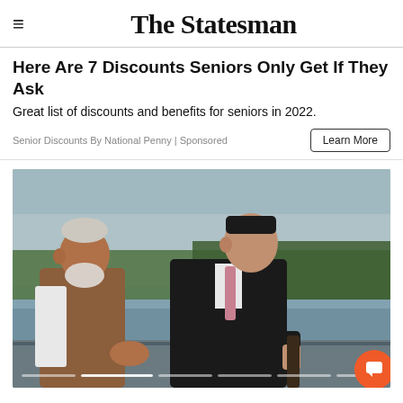The Statesman
Here Are 7 Discounts Seniors Only Get If They Ask
Great list of discounts and benefits for seniors in 2022.
Senior Discounts By National Penny | Sponsored
[Figure (photo): Two political leaders — one in a traditional Indian vest with white beard, another in a dark suit with pink tie — conversing on an outdoor terrace with a lake and trees in the background.]